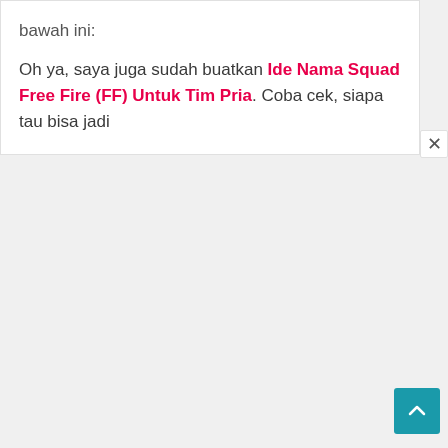bawah ini:
Oh ya, saya juga sudah buatkan Ide Nama Squad Free Fire (FF) Untuk Tim Pria. Coba cek, siapa tau bisa jadi